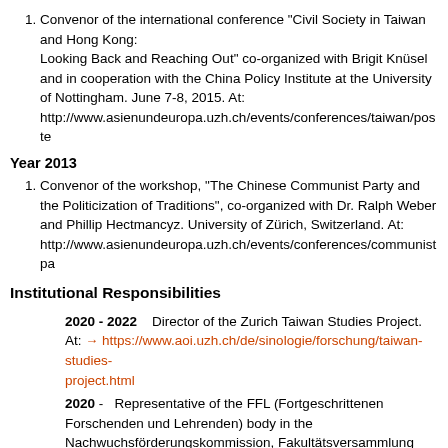Convenor of the international conference "Civil Society in Taiwan and Hong Kong: Looking Back and Reaching Out" co-organized with Brigit Knüsel and in cooperation with the China Policy Institute at the University of Nottingham. June 7-8, 2015. At: http://www.asienundeuropa.uzh.ch/events/conferences/taiwan/poste
Year 2013
Convenor of the workshop, "The Chinese Communist Party and the Politicization of Traditions", co-organized with Dr. Ralph Weber and Phillip Hectmancyz. University of Zürich, Switzerland. At: http://www.asienundeuropa.uzh.ch/events/conferences/communistpa
Institutional Responsibilities
2020 - 2022   Director of the Zurich Taiwan Studies Project. At: → https://www.aoi.uzh.ch/de/sinologie/forschung/taiwan-studies-project.html
2020 -   Representative of the FFL (Fortgeschrittenen Forschenden und Lehrenden) body in the Nachwuchsförderungskommission, Fakultätsversammlung PhF and Laufbahnkommission PhF
2019 -  Representative of the Privat Dozentinnen und Dozenten body in the Commission for the promotion of academic careers (Laufbahnkommission) at the University of Zurich. At: